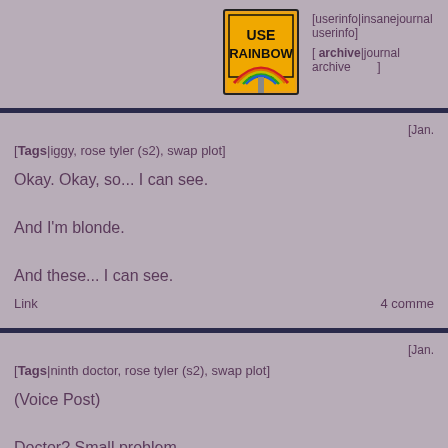[Figure (illustration): Orange road sign reading 'USE RAINBOW' with a rainbow graphic below the text]
[userinfo|insanejournal userinfo]
[ archive|journal archive ]
[Jan.
[Tags|iggy, rose tyler (s2), swap plot]
Okay. Okay, so... I can see.

And I'm blonde.

And these... I can see.
Link                                    4 comme
[Jan.
[Tags|ninth doctor, rose tyler (s2), swap plot]
(Voice Post)

Doctor? Small problem.
Link                                    6 comme